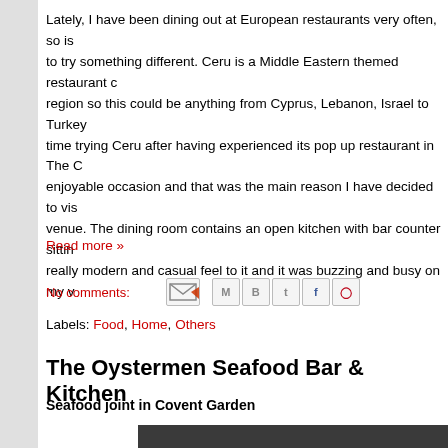Lately, I have been dining out at European restaurants very often, so is to try something different. Ceru is a Middle Eastern themed restaurant c region so this could be anything from Cyprus, Lebanon, Israel to Turkey time trying Ceru after having experienced its pop up restaurant in The C enjoyable occasion and that was the main reason I have decided to vis venue. The dining room contains an open kitchen with bar counter sittin really modern and casual feel to it and it was buzzing and busy on my v
Read more »
No comments:
Labels: Food, Home, Others
The Oystermen Seafood Bar & Kitchen
Seafood joint in Covent Garden
[Figure (photo): Photo of oysters on a plate, black and white/sepia toned image showing opened oysters]